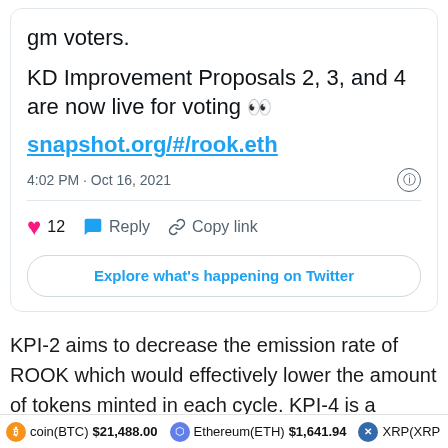gm voters.
KD Improvement Proposals 2, 3, and 4 are now live for voting 👀
snapshot.org/#/rook.eth
4:02 PM · Oct 16, 2021
12  Reply  Copy link
Explore what's happening on Twitter
KPI-2 aims to decrease the emission rate of ROOK which would effectively lower the amount of tokens minted in each cycle. KPI-4 is a proposal to use some of the protocol's 'Ninja' profits to buy back ROOK from the
coin(BTC) $21,488.00  Ethereum(ETH) $1,641.94  XRP(XRP